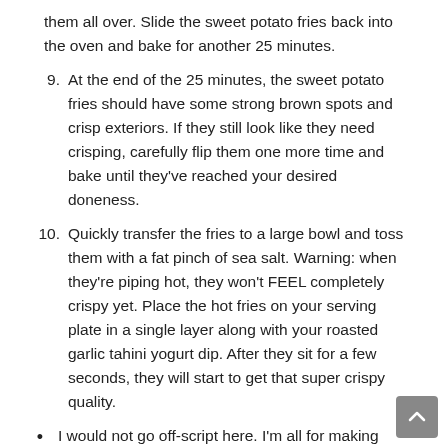them all over. Slide the sweet potato fries back into the oven and bake for another 25 minutes.
9. At the end of the 25 minutes, the sweet potato fries should have some strong brown spots and crisp exteriors. If they still look like they need crisping, carefully flip them one more time and bake until they’ve reached your desired doneness.
10. Quickly transfer the fries to a large bowl and toss them with a fat pinch of sea salt. Warning: when they’re piping hot, they won’t FEEL completely crispy yet. Place the hot fries on your serving plate in a single layer along with your roasted garlic tahini yogurt dip. After they sit for a few seconds, they will start to get that super crispy quality.
I would not go off-script here. I’m all for making recipes your own, but if you’re expecting perfectly crispy results, I’d follow this recipe to a tee the first